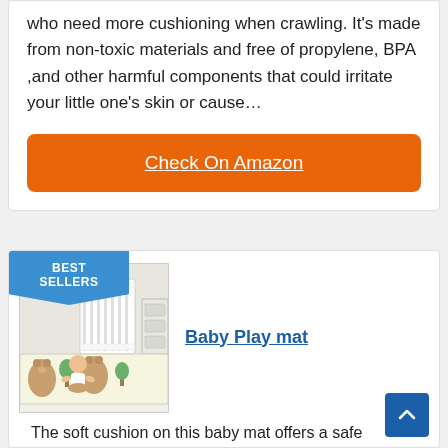who need more cushioning when crawling. It's made from non-toxic materials and free of propylene, BPA ,and other harmful components that could irritate your little one's skin or cause…
Check On Amazon
BEST SELLERS
[Figure (photo): Baby play mat with bear pattern, baby sitting on it, white crib in background]
Baby Play mat
The soft cushion on this baby mat offers a safe playing surface for toddlers and infants, perfect to